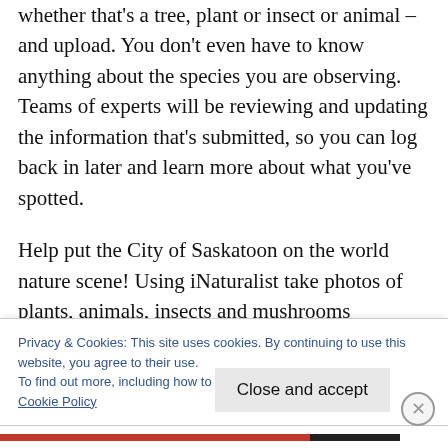whether that's a tree, plant or insect or animal – and upload. You don't even have to know anything about the species you are observing. Teams of experts will be reviewing and updating the information that's submitted, so you can log back in later and learn more about what you've spotted.
Help put the City of Saskatoon on the world nature scene! Using iNaturalist take photos of plants, animals, insects and mushrooms
Privacy & Cookies: This site uses cookies. By continuing to use this website, you agree to their use.
To find out more, including how to control cookies, see here:
Cookie Policy
Close and accept